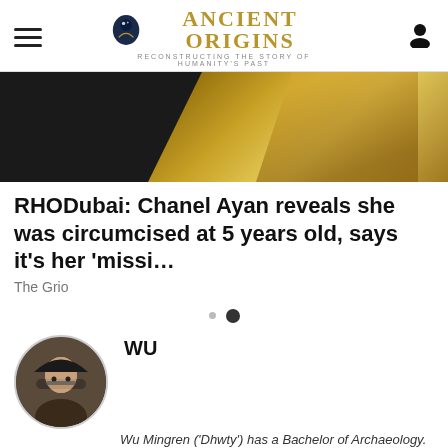Ancient Origins — Reconstructing the story of humanity's past
[Figure (photo): Hero image showing a person in a gold sequined outfit against a dark background]
RHODubai: Chanel Ayan reveals she was circumcised at 5 years old, says it's her 'missi…
The Grio
[Figure (other): Pagination dots: small grey dot and larger dark dot]
[Figure (photo): Circular portrait of Wu Mingren, author photo]
WU
Wu Mingren ('Dhwty') has a Bachelor of Archaeology. st is in the ancient civilizations of the Near East, he is also interested in other geographical
Treating metastatic breast cancer depends on many factors, including the kind of cancer…
WebMD